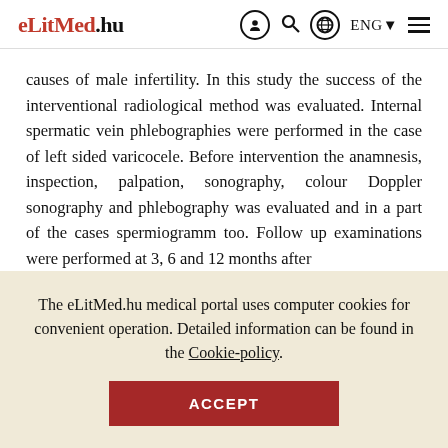eLitMed.hu  [user icon] [search icon] [globe icon] ENG▼ [menu]
causes of male infertility. In this study the success of the interventional radiological method was evaluated. Internal spermatic vein phlebographies were performed in the case of left sided varicocele. Before intervention the anamnesis, inspection, palpation, sonography, colour Doppler sonography and phlebography was evaluated and in a part of the cases spermiogramm too. Follow up examinations were performed at 3, 6 and 12 months after
The eLitMed.hu medical portal uses computer cookies for convenient operation. Detailed information can be found in the Cookie-policy.
ACCEPT